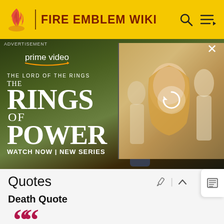FIRE EMBLEM WIKI
[Figure (screenshot): Amazon Prime Video advertisement for The Lord of the Rings: The Rings of Power. Shows two characters from the show with text 'prime video', 'THE LORD OF THE RINGS THE RINGS OF POWER', 'WATCH NOW | NEW SERIES'. A secondary image panel on the right shows a blonde woman character with a reload icon overlay.]
Quotes
Death Quote
I was prepared for... anything...
GILLIAM'S DEATH QUOTE